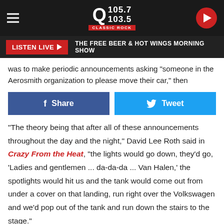Q 105.7 / 103.5 Classic Rock — LISTEN LIVE — THE FREE BEER & HOT WINGS MORNING SHOW
was to make periodic announcements asking "someone in the Aerosmith organization to please move their car," then
Share   Tweet
"The theory being that after all of these announcements throughout the day and the night," David Lee Roth said in Crazy From the Heat, "the lights would go down, they'd go, 'Ladies and gentlemen ... da-da-da ... Van Halen,' the spotlights would hit us and the tank would come out from under a cover on that landing, run right over the Volkswagen and we'd pop out of the tank and run down the stairs to the stage."